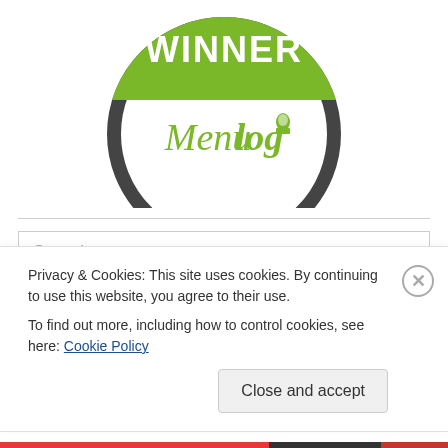[Figure (logo): Menulog Winner badge — circular dark grey ring with green banner at top reading WINNER in white bold text, and green Menulog logo text with chef hat icon in center]
Search
Follow Blog via Email
Privacy & Cookies: This site uses cookies. By continuing to use this website, you agree to their use.
To find out more, including how to control cookies, see here: Cookie Policy
Close and accept